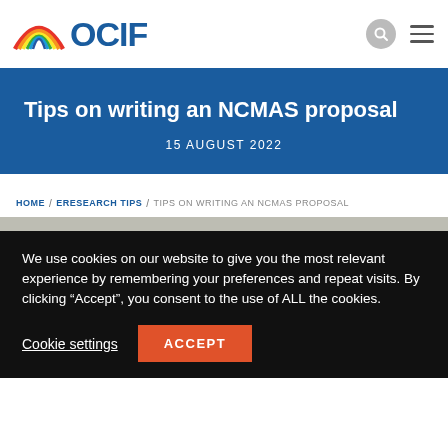[Figure (logo): OCLF rainbow arc logo with colorful stripes above blue OCIF text]
Tips on writing an NCMAS proposal
15 AUGUST 2022
HOME / ERESEARCH TIPS / TIPS ON WRITING AN NCMAS PROPOSAL
We use cookies on our website to give you the most relevant experience by remembering your preferences and repeat visits. By clicking “Accept”, you consent to the use of ALL the cookies.
Cookie settings   ACCEPT